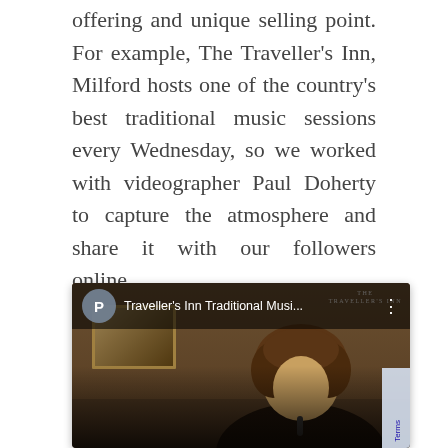offering and unique selling point. For example, The Traveller's Inn, Milford hosts one of the country's best traditional music sessions every Wednesday, so we worked with videographer Paul Doherty to capture the atmosphere and share it with our followers online….
[Figure (screenshot): Embedded video thumbnail showing a Facebook/social media video player for 'Traveller's Inn Traditional Musi...' with a play button circle marked P, three-dot menu, and a background image of a person with curly hair playing music in a pub setting with a framed painting on the wall. The Traveller's Inn logo appears in the top right corner.]